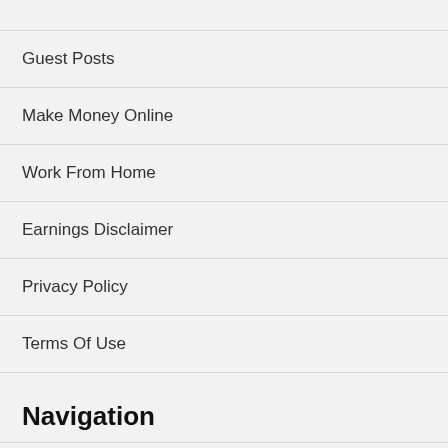Guest Posts
Make Money Online
Work From Home
Earnings Disclaimer
Privacy Policy
Terms Of Use
Navigation